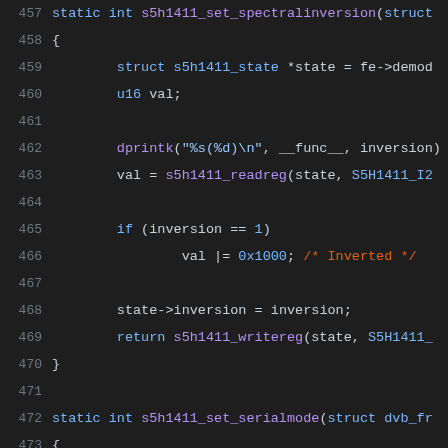457  static int s5h1411_set_spectralinversion(struct
458  {
459          struct s5h1411_state *state = fe->demod
460          u16 val;
461
462          dprintk("%s(%d)\n", __func__, inversion)
463          val = s5h1411_readreg(state, S5H1411_I2
464
465          if (inversion == 1)
466                  val |= 0x1000; /* Inverted */
467
468          state->inversion = inversion;
469          return s5h1411_writereg(state, S5H1411_
470  }
471
472  static int s5h1411_set_serialmode(struct dvb_fr
473  {
474          struct s5h1411_state *state = fe->demod
475          u16 val;
476
477          dprintk("%s(%d)\n", __func__, serial);
478          val = s5h1411_readreg(state, S5H1411_I2